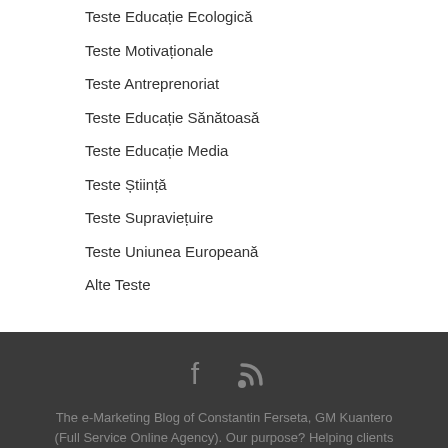Teste Educație Ecologică
Teste Motivaționale
Teste Antreprenoriat
Teste Educație Sănătoasă
Teste Educație Media
Teste Știință
Teste Supraviețuire
Teste Uniunea Europeană
Alte Teste
[Figure (other): Social media icons: Facebook and RSS feed icons in gray on dark background]
The e-Marketing Blog of Constantin Ferseta, GM Kuantero (Full Service Online Agency). Our purpose? Helping clients (and friends) to sell more using e-marketing.